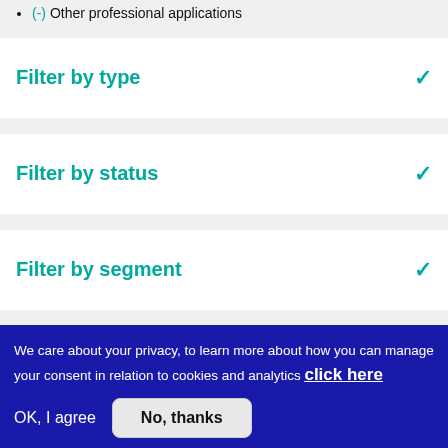(-) Other professional applications
Filter by type
Filter by status
Filter by segment
We care about your privacy, to learn more about how you can manage your consent in relation to cookies and analytics click here
OK, I agree
No, thanks